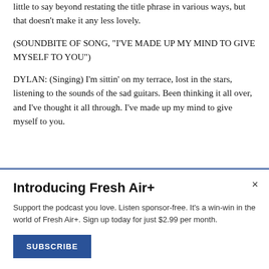little to say beyond restating the title phrase in various ways, but that doesn't make it any less lovely.
(SOUNDBITE OF SONG, "I'VE MADE UP MY MIND TO GIVE MYSELF TO YOU")
DYLAN: (Singing) I'm sittin' on my terrace, lost in the stars, listening to the sounds of the sad guitars. Been thinking it all over, and I've thought it all through. I've made up my mind to give myself to you.
Introducing Fresh Air+
Support the podcast you love. Listen sponsor-free. It's a win-win in the world of Fresh Air+. Sign up today for just $2.99 per month.
SUBSCRIBE